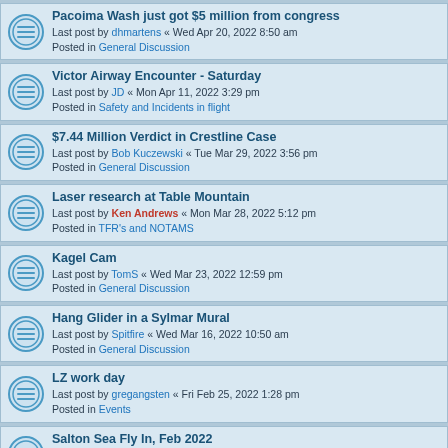Pacoima Wash just got $5 million from congress
Last post by dhmartens « Wed Apr 20, 2022 8:50 am
Posted in General Discussion
Victor Airway Encounter - Saturday
Last post by JD « Mon Apr 11, 2022 3:29 pm
Posted in Safety and Incidents in flight
$7.44 Million Verdict in Crestline Case
Last post by Bob Kuczewski « Tue Mar 29, 2022 3:56 pm
Posted in General Discussion
Laser research at Table Mountain
Last post by Ken Andrews « Mon Mar 28, 2022 5:12 pm
Posted in TFR's and NOTAMS
Kagel Cam
Last post by TomS « Wed Mar 23, 2022 12:59 pm
Posted in General Discussion
Hang Glider in a Sylmar Mural
Last post by Spitfire « Wed Mar 16, 2022 10:50 am
Posted in General Discussion
LZ work day
Last post by gregangsten « Fri Feb 25, 2022 1:28 pm
Posted in Events
Salton Sea Fly In, Feb 2022
Last post by chadness « Fri Feb 11, 2022 4:40 pm
Posted in Flying Related
NTSB report on PPG / cargo plane collision in Dec in TX